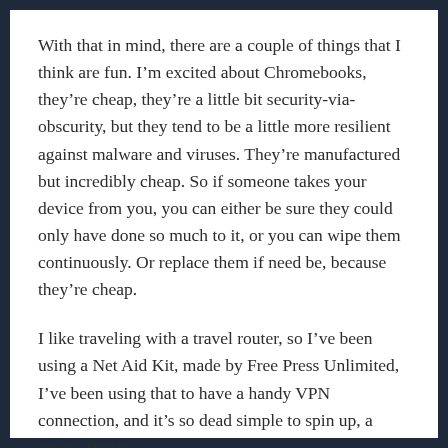With that in mind, there are a couple of things that I think are fun. I'm excited about Chromebooks, they're cheap, they're a little bit security-via-obscurity, but they tend to be a little more resilient against malware and viruses. They're manufactured but incredibly cheap. So if someone takes your device from you, you can either be sure they could only have done so much to it, or you can wipe them continuously. Or replace them if need be, because they're cheap.
I like traveling with a travel router, so I've been using a Net Aid Kit, made by Free Press Unlimited, I've been using that to have a handy VPN connection, and it's so dead simple to spin up, a great offering.